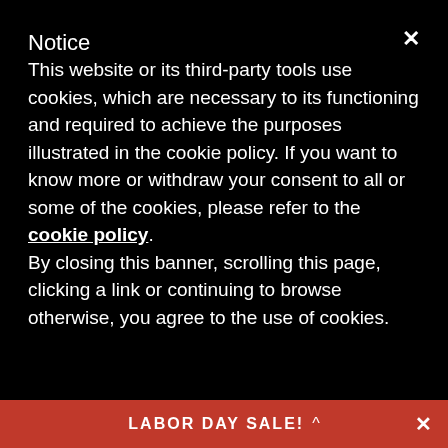Notice
This website or its third-party tools use cookies, which are necessary to its functioning and required to achieve the purposes illustrated in the cookie policy. If you want to know more or withdraw your consent to all or some of the cookies, please refer to the cookie policy. By closing this banner, scrolling this page, clicking a link or continuing to browse otherwise, you agree to the use of cookies.
3642306501 PHATSHAFT 64 TOR...
$2,063.03
★ ★ ★ ★ ★
1994-2002 DODGE 5.9L CUMMINS (WITH FUEL MODIFICATIONS)
3642307111 SUPER
$2,416.90
★ ★ ★ ★ ★
1994-2002 DODGE 5.9L (WITH FUEL MODIFICA...
LABOR DAY SALE! ^  ×